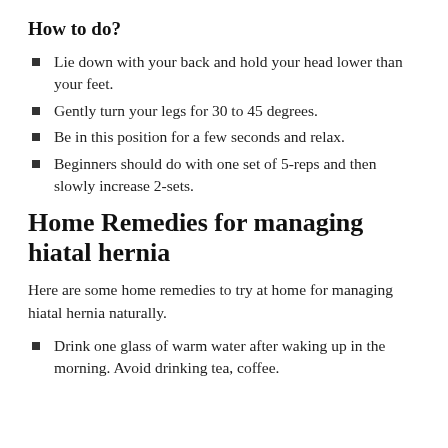How to do?
Lie down with your back and hold your head lower than your feet.
Gently turn your legs for 30 to 45 degrees.
Be in this position for a few seconds and relax.
Beginners should do with one set of 5-reps and then slowly increase 2-sets.
Home Remedies for managing hiatal hernia
Here are some home remedies to try at home for managing hiatal hernia naturally.
Drink one glass of warm water after waking up in the morning. Avoid drinking tea, coffee.